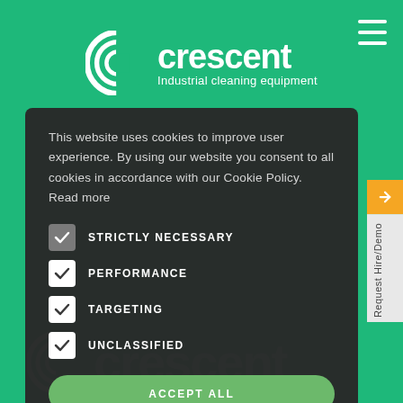[Figure (logo): Crescent Industrial cleaning equipment logo — white C swirl icon with company name and tagline on green background]
This website uses cookies to improve user experience. By using our website you consent to all cookies in accordance with our Cookie Policy. Read more
STRICTLY NECESSARY
PERFORMANCE
TARGETING
UNCLASSIFIED
ACCEPT ALL
MANAGE OPTIONS